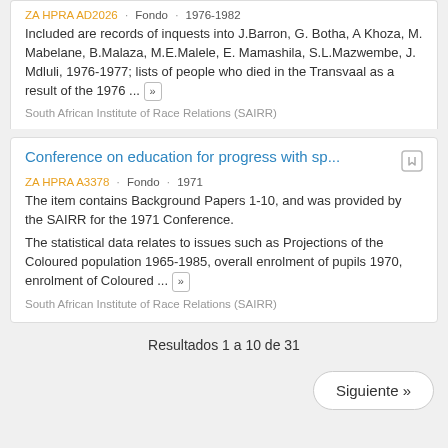Included are records of inquests into J.Barron, G. Botha, A Khoza, M. Mabelane, B.Malaza, M.E.Malele, E. Mamashila, S.L.Mazwembe, J. Mdluli, 1976-1977; lists of people who died in the Transvaal as a result of the 1976 ... »
South African Institute of Race Relations (SAIRR)
Conference on education for progress with sp...
ZA HPRA A3378 · Fondo · 1971
The item contains Background Papers 1-10, and was provided by the SAIRR for the 1971 Conference.
The statistical data relates to issues such as Projections of the Coloured population 1965-1985, overall enrolment of pupils 1970, enrolment of Coloured ... »
South African Institute of Race Relations (SAIRR)
Resultados 1 a 10 de 31
Siguiente »